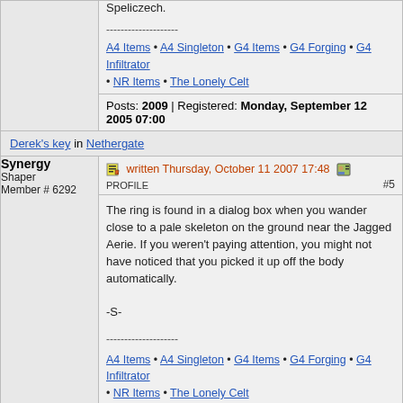Speliczech.
--------------------
A4 Items • A4 Singleton • G4 Items • G4 Forging • G4 Infiltrator • NR Items • The Lonely Celt
Posts: 2009 | Registered: Monday, September 12 2005 07:00
Derek's key in Nethergate
Synergy
Shaper
Member # 6292
written Thursday, October 11 2007 17:48  PROFILE  #5
The ring is found in a dialog box when you wander close to a pale skeleton on the ground near the Jagged Aerie. If you weren't paying attention, you might not have noticed that you picked it up off the body automatically.

-S-
--------------------
A4 Items • A4 Singleton • G4 Items • G4 Forging • G4 Infiltrator • NR Items • The Lonely Celt
Posts: 2009 | Registered: Monday, September 12 2005